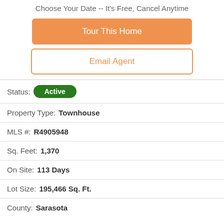Choose Your Date -- It's Free, Cancel Anytime
Tour This Home
Email Agent
Status: Active
Property Type: Townhouse
MLS #: R4905948
Sq. Feet: 1,370
On Site: 113 Days
Lot Size: 195,466 Sq. Ft.
County: Sarasota